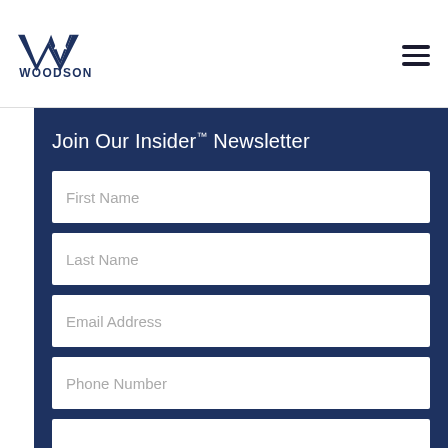Woodson Wealth Management logo and navigation
Join Our Insider™ Newsletter
First Name
Last Name
Email Address
Phone Number